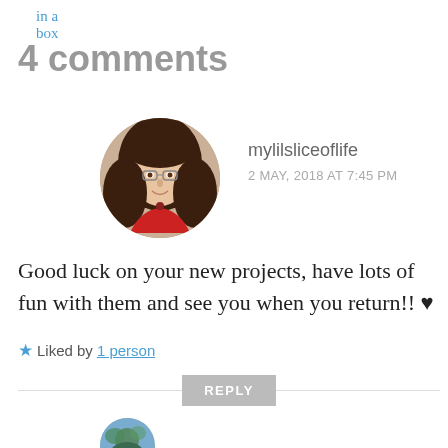in a box
4 comments
[Figure (photo): Circular avatar photo of a woman with long brown hair wearing glasses and a red top]
mylilsliceoflife
2 MAY, 2018 AT 7:45 PM
Good luck on your new projects, have lots of fun with them and see you when you return!! ♥
★ Liked by 1 person
REPLY
[Figure (photo): Partial circular avatar photo at bottom, partially visible]